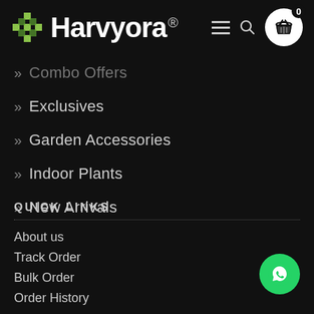Harvyora ®
» Combo Offers
» Exclusives
» Garden Accessories
» Indoor Plants
» New Arrivals
QUICK LINKS
About us
Track Order
Bulk Order
Order History